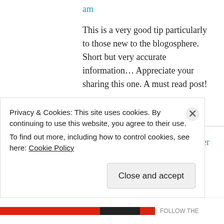am
This is a very good tip particularly to those new to the blogosphere.
Short but very accurate information… Appreciate your sharing this one.
A must read post!
★ Like
adobe photoshop cs6 serial number on October 13,
Privacy & Cookies: This site uses cookies. By continuing to use this website, you agree to their use.
To find out more, including how to control cookies, see here: Cookie Policy
Close and accept